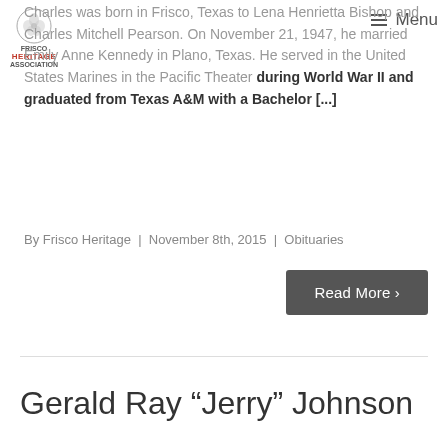[Figure (logo): Frisco Heritage Association logo with cotton boll circle icon]
Charles was born in Frisco, Texas to Lena Henrietta Bishop and Charles Mitchell Pearson. On November 21, 1947, he married Emily Anne Kennedy in Plano, Texas. He served in the United States Marines in the Pacific Theater during World War II and graduated from Texas A&M with a Bachelor [...]
By Frisco Heritage | November 8th, 2015 | Obituaries
Read More >
Gerald Ray “Jerry” Johnson